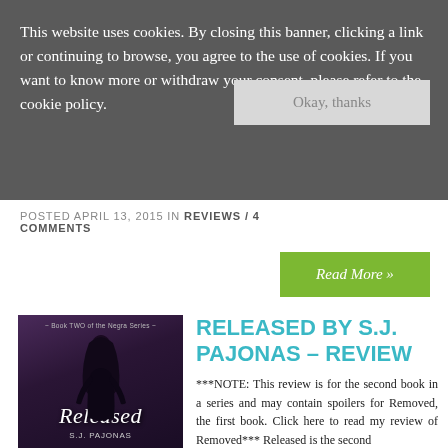This website uses cookies. By closing this banner, clicking a link or continuing to browse, you agree to the use of cookies. If you want to know more or withdraw your consent, please refer to the cookie policy.
Okay, thanks
POSTED APRIL 13, 2015 IN REVIEWS / 4 COMMENTS
Read More »
[Figure (illustration): Book cover for 'Released' by S.J. Pajonas - Book TWO of the Negra Series, showing a female silhouette in black outfit against a dark purple/moody background]
RELEASED BY S.J. PAJONAS – REVIEW
***NOTE: This review is for the second book in a series and may contain spoilers for Removed, the first book. Click here to read my review of Removed*** Released is the second